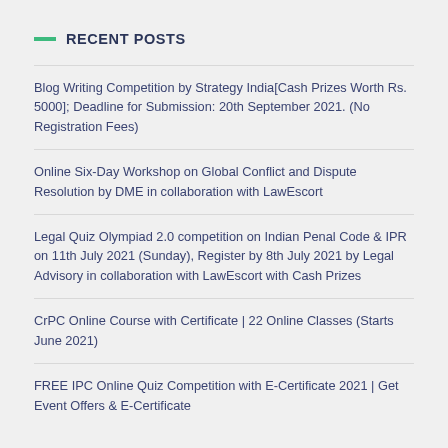RECENT POSTS
Blog Writing Competition by Strategy India[Cash Prizes Worth Rs. 5000]; Deadline for Submission: 20th September 2021. (No Registration Fees)
Online Six-Day Workshop on Global Conflict and Dispute Resolution by DME in collaboration with LawEscort
Legal Quiz Olympiad 2.0 competition on Indian Penal Code & IPR on 11th July 2021 (Sunday), Register by 8th July 2021 by Legal Advisory in collaboration with LawEscort with Cash Prizes
CrPC Online Course with Certificate | 22 Online Classes (Starts June 2021)
FREE IPC Online Quiz Competition with E-Certificate 2021 | Get Event Offers & E-Certificate